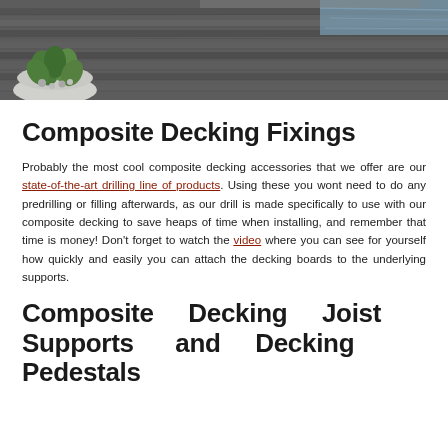[Figure (photo): Overhead photo of a composite wood deck with a succulent plant bowl in the lower left corner and water visible in the upper right background.]
Composite Decking Fixings
Probably the most cool composite decking accessories that we offer are our state-of-the-art drilling line of products. Using these you wont need to do any predrilling or filling afterwards, as our drill is made specifically to use with our composite decking to save heaps of time when installing, and remember that time is money! Don't forget to watch the video where you can see for yourself how quickly and easily you can attach the decking boards to the underlying supports.
Composite Decking Joist Supports and Decking Pedestals